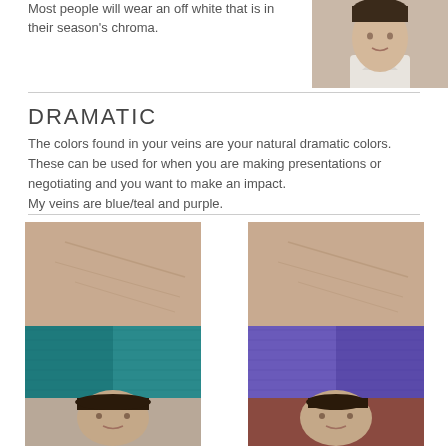Most people will wear an off white that is in their season’s chroma.
[Figure (photo): Photo of a person wearing a white shirt, shown from shoulders up, face partially visible]
DRAMATIC
The colors found in your veins are your natural dramatic colors. These can be used for when you are making presentations or negotiating and you want to make an impact.
My veins are blue/teal and purple.
[Figure (photo): Left photo collage: top portion shows back of wrist/hand skin, middle shows teal/blue fabric swatch, bottom shows person’s face with dark hair]
[Figure (photo): Right photo collage: top portion shows back of wrist/hand skin, middle shows purple/blue fabric swatch, bottom shows person’s face]